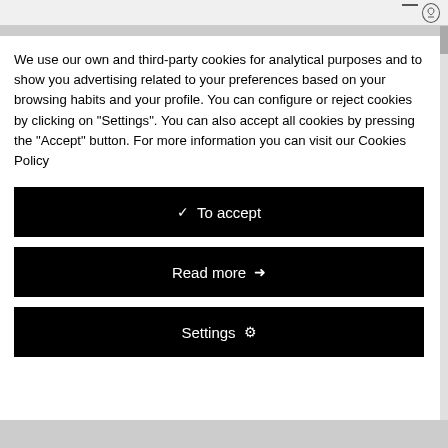We use our own and third-party cookies for analytical purposes and to show you advertising related to your preferences based on your browsing habits and your profile. You can configure or reject cookies by clicking on "Settings". You can also accept all cookies by pressing the "Accept" button. For more information you can visit our Cookies Policy
✓  To accept
Read more →
Settings ⚙